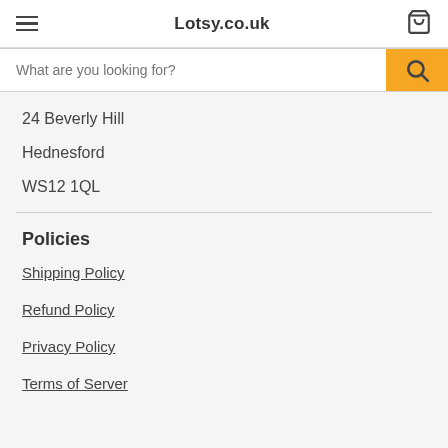Lotsy.co.uk
What are you looking for?
24 Beverly Hill
Hednesford
WS12 1QL
Policies
Shipping Policy
Refund Policy
Privacy Policy
Terms of Server